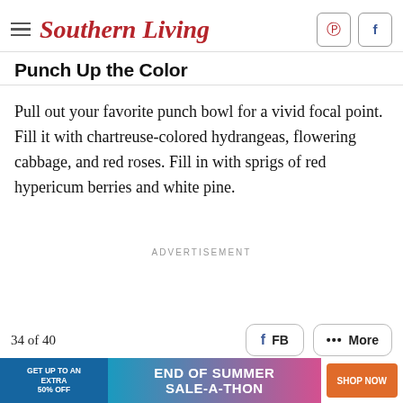Southern Living
Punch Up the Color
Pull out your favorite punch bowl for a vivid focal point. Fill it with chartreuse-colored hydrangeas, flowering cabbage, and red roses. Fill in with sprigs of red hypericum berries and white pine.
ADVERTISEMENT
34 of 40
[Figure (infographic): END OF SUMMER SALE-A-THON advertisement banner with GET UP TO AN EXTRA 50% OFF on left, SHOP NOW button on right]